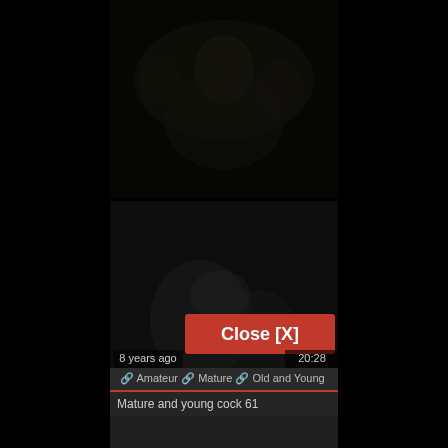[Figure (screenshot): Dark video player screenshot showing a very dark scene with barely visible figures at top, and a second dark video thumbnail in the middle section with a 'Close [X]' button overlay in red]
8 years ago
20:28
🔗 Amateur  🔗 Mature  🔗 Old and Young
Mature and young cock 61